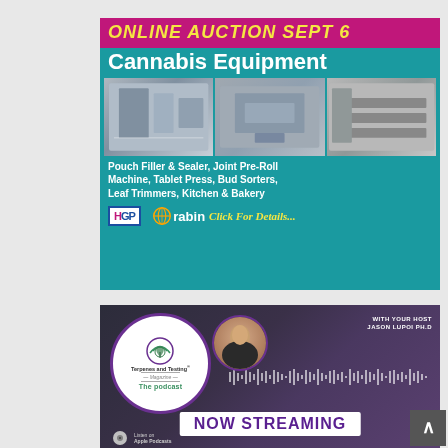[Figure (advertisement): Online Auction Sept 6 — Cannabis Equipment ad banner. Shows three photos of industrial cannabis equipment (Pouch Filler & Sealer, Joint Pre-Roll Machine, Tablet Press, Bud Sorters, Leaf Trimmers, Kitchen & Bakery). Logos for HGP and Rabin with 'Click For Details...' in yellow cursive. Teal/cyan background, magenta header.]
[Figure (advertisement): Terpenes and Testing Magazine — The podcast. With your host Jason Lupoi PH.D. Now Streaming. Listen on Apple Podcasts and YouTube. Purple/dark background with podcast circle logo and host photo.]